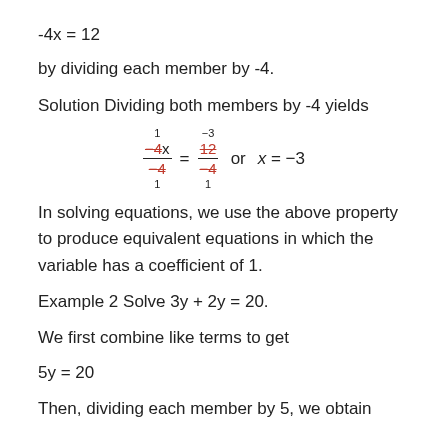by dividing each member by -4.
Solution Dividing both members by -4 yields
[Figure (math-figure): Fraction cancellation showing -4x/-4 = 12/-4, with -4 struck through in numerator and denominator, annotations 1 above and 1 below, -3 above 12, result or x = -3]
In solving equations, we use the above property to produce equivalent equations in which the variable has a coefficient of 1.
Example 2 Solve 3y + 2y = 20.
We first combine like terms to get
Then, dividing each member by 5, we obtain